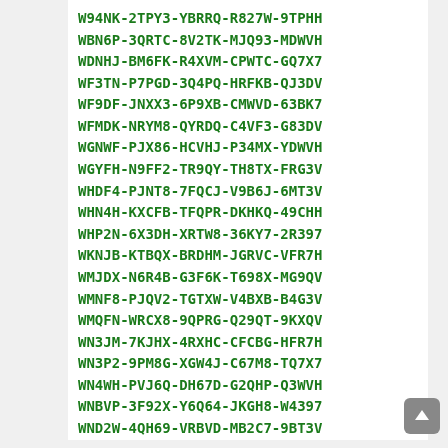W94NK-2TPY3-YBRRQ-R827W-9TPHH
WBN6P-3QRTC-8V2TK-MJQ93-MDWVH
WDNHJ-BM6FK-R4XVM-CPWTC-GQ7X7
WF3TN-P7PGD-3Q4PQ-HRFKB-QJ3DV
WF9DF-JNXX3-6P9XB-CMWVD-63BK7
WFMDK-NRYM8-QYRDQ-C4VF3-G83DV
WGNWF-PJX86-HCVHJ-P34MX-YDWVH
WGYFH-N9FF2-TR9QY-TH8TX-FRG3V
WHDF4-PJNT8-7FQCJ-V9B6J-6MT3V
WHN4H-KXCFB-TFQPR-DKHKQ-49CHH
WHP2N-6X3DH-XRTW8-36KY7-2R397
WKNJB-KTBQX-BRDHM-JGRVC-VFR7H
WMJDX-N6R4B-G3F6K-T698X-MG9QV
WMNF8-PJQV2-TGTXW-V4BXB-B4G3V
WMQFN-WRCX8-9QPRG-Q29QT-9KXQV
WN3JM-7KJHX-4RXHC-CFCBG-HFR7H
WN3P2-9PM8G-XGW4J-C67M8-TQ7X7
WN4WH-PVJ6Q-DH67D-G2QHP-Q3WVH
WNBVP-3F92X-Y6Q64-JKGH8-W4397
WND2W-4QH69-VRBVD-MB2C7-9BT3V
WNRGP-RQJHD-YF32G-KC3T6-FVVX7
WP2YK-N79JH-CWDD3-XXWPC-VFR7H